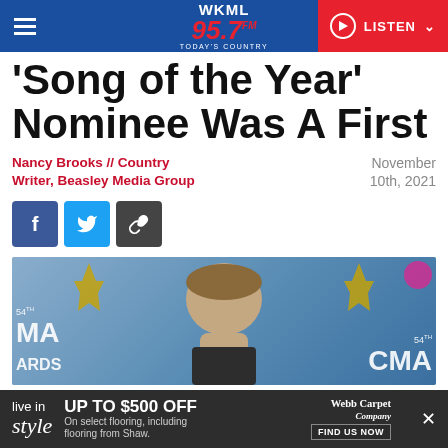WKML 95.7 Today's Country — LISTEN
'Song of the Year' Nominee Was A First
Nancy Brooks // Country Writer, Beasley Media Group
November 10th, 2021
[Figure (screenshot): Social share buttons: Facebook (blue), Twitter (light blue), Link (dark gray)]
[Figure (photo): Man at the 54th CMA Awards red carpet event, with CMA Awards backdrop visible on both sides.]
live in style UP TO $500 OFF On select flooring, including flooring from Shaw. Webb Carpet Company FIND US NOW